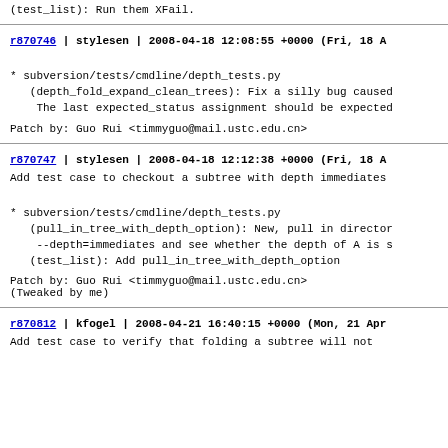(test_list): Run them XFail.
r870746 | stylesen | 2008-04-18 12:08:55 +0000 (Fri, 18 A
* subversion/tests/cmdline/depth_tests.py
   (depth_fold_expand_clean_trees): Fix a silly bug caused
    The last expected_status assignment should be expected
Patch by: Guo Rui <timmyguo@mail.ustc.edu.cn>
r870747 | stylesen | 2008-04-18 12:12:38 +0000 (Fri, 18 A
Add test case to checkout a subtree with depth immediates
* subversion/tests/cmdline/depth_tests.py
   (pull_in_tree_with_depth_option): New, pull in director
    --depth=immediates and see whether the depth of A is s
   (test_list): Add pull_in_tree_with_depth_option
Patch by: Guo Rui <timmyguo@mail.ustc.edu.cn>
(Tweaked by me)
r870812 | kfogel | 2008-04-21 16:40:15 +0000 (Mon, 21 Apr
Add test case to verify that folding a subtree will not